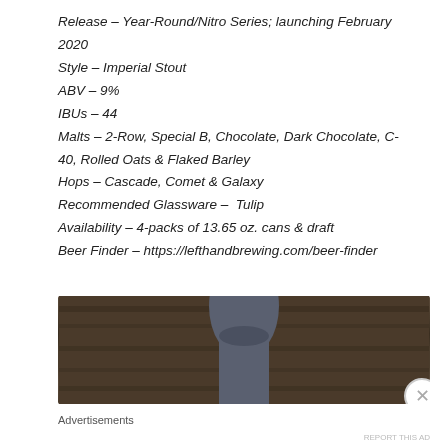Release – Year-Round/Nitro Series; launching February 2020
Style – Imperial Stout
ABV – 9%
IBUs – 44
Malts – 2-Row, Special B, Chocolate, Dark Chocolate, C-40, Rolled Oats & Flaked Barley
Hops – Cascade, Comet & Galaxy
Recommended Glassware –  Tulip
Availability – 4-packs of 13.65 oz. cans & draft
Beer Finder – https://lefthandbrewing.com/beer-finder
[Figure (photo): Partial photo of what appears to be a beer bottle or tap handle in a dark/wood background setting]
Advertisements